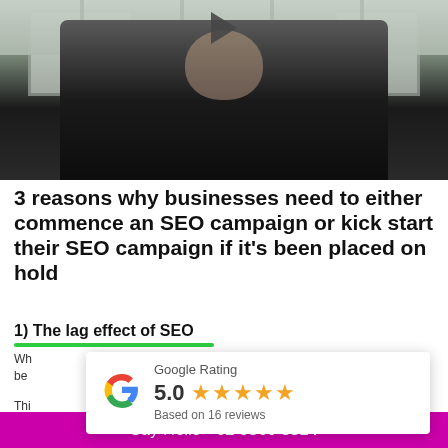[Figure (screenshot): Video thumbnail showing a person in a black shirt standing in front of windows, with a play button overlay at top center]
3 reasons why businesses need to either commence an SEO campaign or kick start their SEO campaign if it's been placed on hold
1) The lag effect of SEO
Wh... you put into your SEO today will be...
[Figure (other): Google Rating popup showing 5.0 stars based on 16 reviews]
Thi... ing of September and by that time (
Say Hello - 02 9360 8514